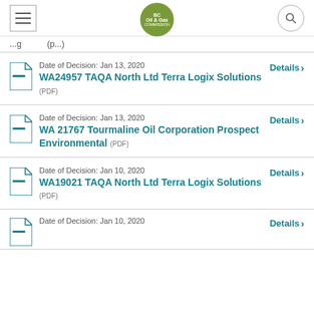BC Oil & Gas Commission
...g...(p...)
Date of Decision: Jan 13, 2020 | WA24957 TAQA North Ltd Terra Logix Solutions (PDF) | Details
Date of Decision: Jan 13, 2020 | WA 21767 Tourmaline Oil Corporation Prospect Environmental (PDF) | Details
Date of Decision: Jan 10, 2020 | WA19021 TAQA North Ltd Terra Logix Solutions (PDF) | Details
Date of Decision: Jan 10, 2020 | Details